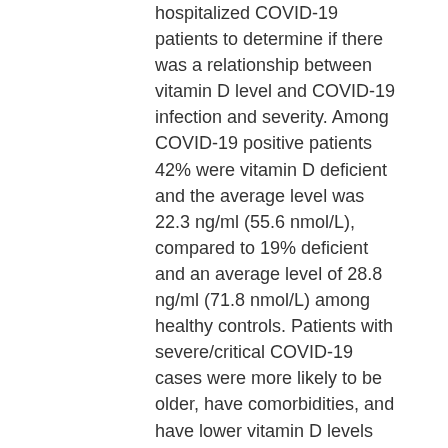hospitalized COVID-19 patients to determine if there was a relationship between vitamin D level and COVID-19 infection and severity. Among COVID-19 positive patients 42% were vitamin D deficient and the average level was 22.3 ng/ml (55.6 nmol/L), compared to 19% deficient and an average level of 28.8 ng/ml (71.8 nmol/L) among healthy controls. Patients with severe/critical COVID-19 cases were more likely to be older, have comorbidities, and have lower vitamin D levels than patients with mild/moderate cases.